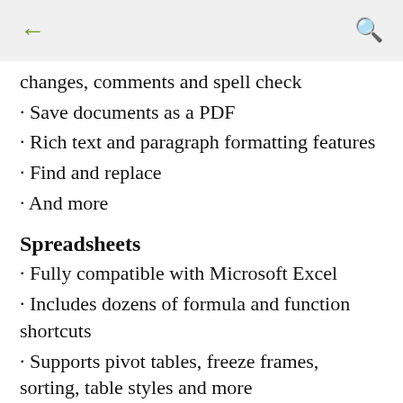← (back) and search icon
changes, comments and spell check
· Save documents as a PDF
· Rich text and paragraph formatting features
· Find and replace
· And more
Spreadsheets
· Fully compatible with Microsoft Excel
· Includes dozens of formula and function shortcuts
· Supports pivot tables, freeze frames, sorting, table styles and more